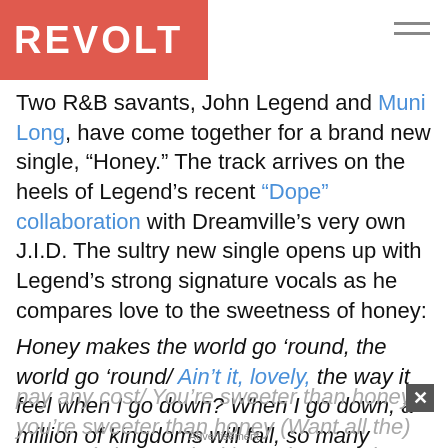REVOLT
Two R&B savants, John Legend and Muni Long, have come together for a brand new single, “Honey.” The track arrives on the heels of Legend’s recent “Dope” collaboration with Dreamville’s very own J.I.D. The sultry new single opens up with Legend’s strong signature vocals as he compares love to the sweetness of honey:
Honey makes the world go ‘round, the world go ‘round/ Ain’t it, lovely, the way it feel when I go down? When I go down, a million of kingdoms will fall, so many crowns will be lost, all for a taste, I will pay any cost/ You’re sweeter than honey, you’re sweeter than honey (Want all the) money (Give me that)/ Sunday, Sunday, Sunday, you’re sweeter than